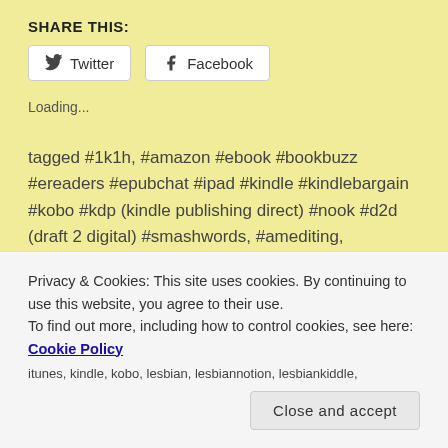SHARE THIS:
Twitter  Facebook
Loading...
tagged #1k1h, #amazon #ebook #bookbuzz #ereaders #epubchat #ipad #kindle #kindlebargain #kobo #kdp (kindle publishing direct) #nook #d2d (draft 2 digital) #smashwords, #amediting, #amwriting, #askagent #askauthor #askeditor #bookmarketing #publishing #selfpub #mswl, #copywriting, #editing #indieauthor, #mswl, #romancewriter, #selfpub
Privacy & Cookies: This site uses cookies. By continuing to use this website, you agree to their use.
To find out more, including how to control cookies, see here: Cookie Policy
Close and accept
itunes, kindle, kobo, lesbian, lesbiannotion, lesbiankiddle,